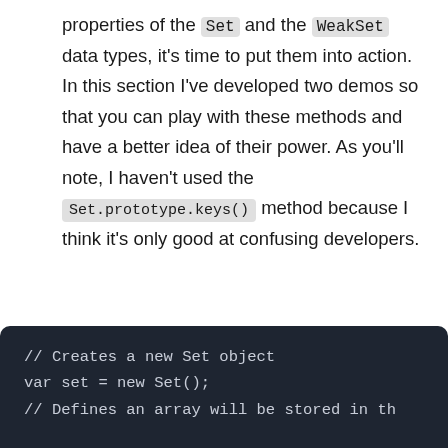properties of the Set and the WeakSet data types, it's time to put them into action. In this section I've developed two demos so that you can play with these methods and have a better idea of their power. As you'll note, I haven't used the Set.prototype.keys() method because I think it's only good at confusing developers.
In the first demo I'll use a Set object and its methods except Set.prototype.keys().
[Figure (screenshot): Dark-themed code block showing: // Creates a new Set object, var set = new Set();, // Defines an array will be stored in th]